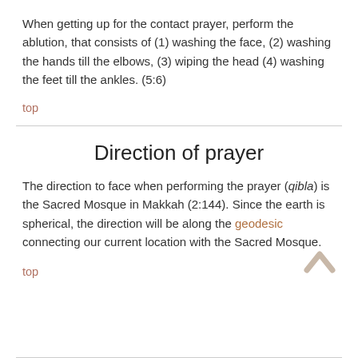When getting up for the contact prayer, perform the ablution, that consists of (1) washing the face, (2) washing the hands till the elbows, (3) wiping the head (4) washing the feet till the ankles. (5:6)
top
Direction of prayer
The direction to face when performing the prayer (qibla) is the Sacred Mosque in Makkah (2:144). Since the earth is spherical, the direction will be along the geodesic connecting our current location with the Sacred Mosque.
top